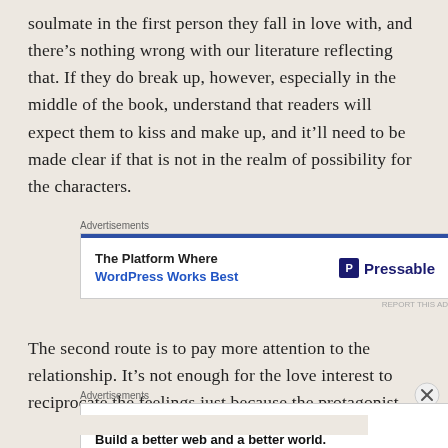soulmate in the first person they fall in love with, and there’s nothing wrong with our literature reflecting that. If they do break up, however, especially in the middle of the book, understand that readers will expect them to kiss and make up, and it’ll need to be made clear if that is not in the realm of possibility for the characters.
[Figure (other): Advertisement banner: The Platform Where WordPress Works Best – Pressable]
The second route is to pay more attention to the relationship. It’s not enough for the love interest to reciprocate the feelings just because the protagonist has
[Figure (other): Advertisement banner: Automattic – Build a better web and a better world.]